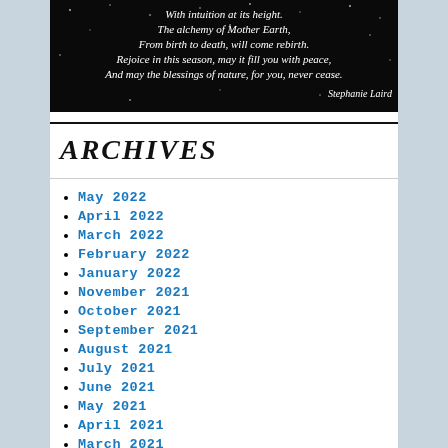[Figure (illustration): Black background with white stars and italic white poem text reading: 'With intuition at its height. The alchemy of Mother Earth, From birth to death, will come rebirth. Rejoice in this season, may it fill you with peace, And may the blessings of nature, for you, never cease.' Attribution: Stephanie Laird]
ARCHIVES
May 2022
April 2022
March 2022
February 2022
January 2022
November 2021
October 2021
September 2021
August 2021
July 2021
June 2021
May 2021
April 2021
March 2021